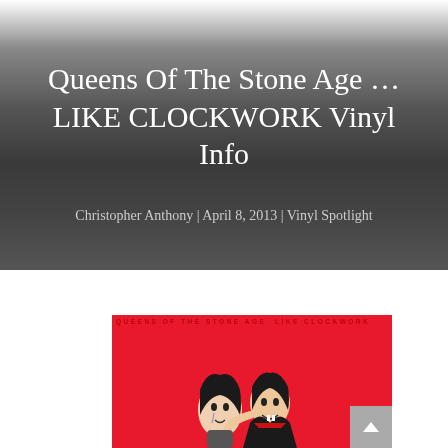Queens Of The Stone Age ... LIKE CLOCKWORK Vinyl Info
Christopher Anthony | April 8, 2013 | Vinyl Spotlight
[Figure (illustration): Album cover for Queens of the Stone Age ...Like Clockwork showing illustrated characters on a red background with the album title text at the top]